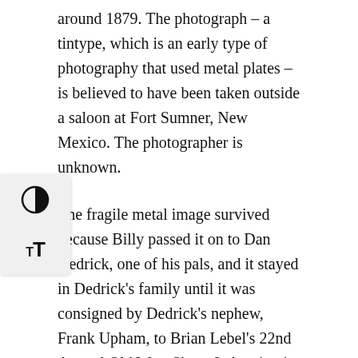around 1879. The photograph – a tintype, which is an early type of photography that used metal plates – is believed to have been taken outside a saloon at Fort Sumner, New Mexico. The photographer is unknown.
The fragile metal image survived because Billy passed it on to Dan Dedrick, one of his pals, and it stayed in Dedrick's family until it was consigned by Dedrick's nephew, Frank Upham, to Brian Lebel's 22nd Annual Old West Show & Auction in Colorado.
The photo was expected to bring up to $400,000, but it took just over three minutes to get to the $2.3 million mark. The